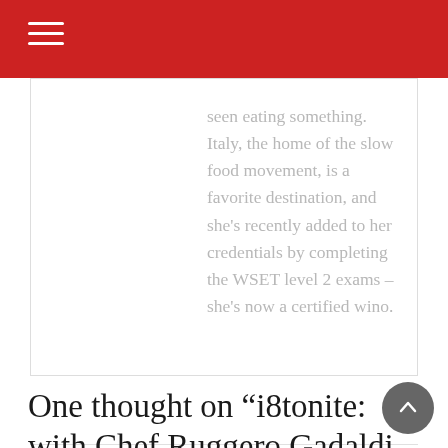seen eating something. Italy, the home of the slow food movement, is a favorite destination, and she's recently added to her credentials by completing the WSET level 2 exams – she's now a certified wino.
One thought on “i8tonite: with Chef Ruggero Gadaldi, San Francisco’s Delarosa & Spicy Holiday Italian Meatballs”